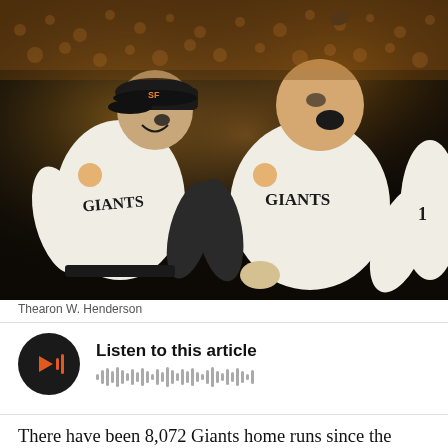[Figure (photo): Two San Francisco Giants baseball players in white uniforms celebrating on the field, with a crowd in the background. One player wears a black cap and laughs, the other has his mouth open in celebration.]
Thearon W. Henderson
[Figure (infographic): Audio player widget with dark circular play button showing orange sound wave icon, and text 'Listen to this article' with a waveform graphic below]
There have been 8,072 Giants home runs since the team moved to San Francisco. I'm in Baseball-